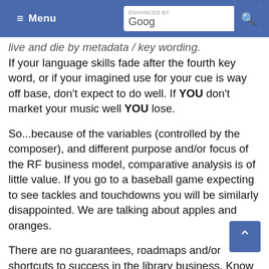≡ Menu | ENHANCED BY Google [search]
live and die by metadata / key wording. If your language skills fade after the fourth key word, or if your imagined use for your cue is way off base, don't expect to do well. If YOU don't market your music well YOU lose.
So...because of the variables (controlled by the composer), and different purpose and/or focus of the RF business model, comparative analysis is of little value. If you go to a baseball game expecting to see tackles and touchdowns you will be similarly disappointed. We are talking about apples and oranges.
There are no guarantees, roadmaps and/or shortcuts to success in the library business. Know your own strengths, diversify and market accordingly, i.e, put your music where it belongs.
Best of luck.